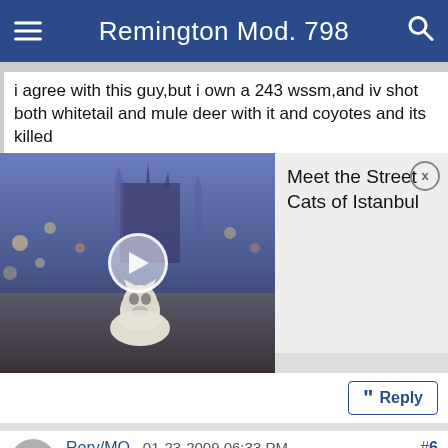Remington Mod. 798
i agree with this guy,but i own a 243 wssm,and iv shot both whitetail and mule deer with it and coyotes and its killed
[Figure (screenshot): Video thumbnail of street cats in Istanbul with play button overlay, and an ad overlay reading 'Meet the Street Cats of Istanbul' with a close button]
Reply button
Rory/MO , 01-23-2009 06:33 PM
Giant Nontypical
RE: Remington Mod. 798
I'd bump it up to a .308 or 30-06. Too very easy bullets to buy, and the bullet range on the 30-06 is 110 to 220 or something like that. I'd feel much more comfortable with that in my hands than a 100 grain .243. I used a .243 from the